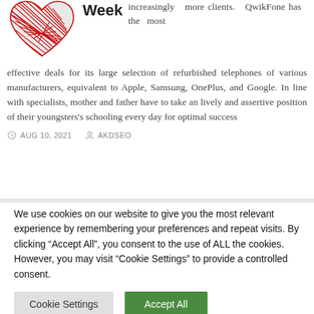[Figure (illustration): Red heart illustration with hand-drawn scribble/hatching style lines in red]
Week
increasingly more clients. QwikFone has the most effective deals for its large selection of refurbished telephones of various manufacturers, equivalent to Apple, Samsung, OnePlus, and Google. In line with specialists, mother and father have to take an lively and assertive position of their youngsters's schooling every day for optimal success
AUG 10, 2021   AKDSEO
We use cookies on our website to give you the most relevant experience by remembering your preferences and repeat visits. By clicking "Accept All", you consent to the use of ALL the cookies. However, you may visit "Cookie Settings" to provide a controlled consent.